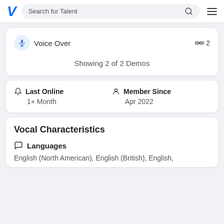Search for Talent
Voice Over  🎧2
Showing 2 of 2 Demos
Last Online 1+ Month  Member Since Apr 2022
Vocal Characteristics
Languages
English (North American), English (British), English,